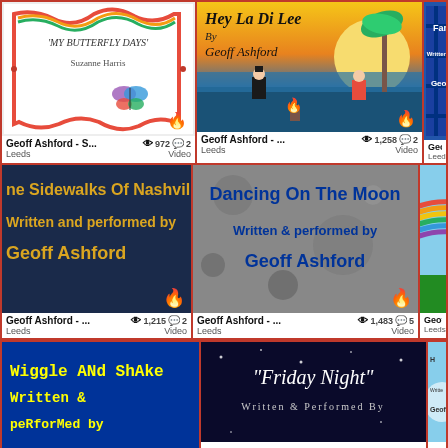[Figure (screenshot): Grid of video thumbnails from Geoff Ashford's YouTube/video channel. Row 1: 'My Butterfly Days' by Suzanne Harris (972 views, 2 comments, Leeds, Video), 'Hey La Di Lee By Geoff Ashford' (1,258 views, 2 comments, Leeds, Video), partial 'Far From Home Written & Geoff' (Leeds). Row 2: 'The Sidewalks Of Nashville Written and performed by Geoff Ashford' (1,215 views, 2 comments, Leeds, Video), 'Dancing On The Moon Written & performed by Geoff Ashford' (1,483 views, 5 comments, Leeds, Video), partial rainbow thumbnail (Leeds). Row 3 (partial): 'Wiggle And Shake Written & Performed by', 'Friday Night Written & Performed By', partial angel thumbnail.]